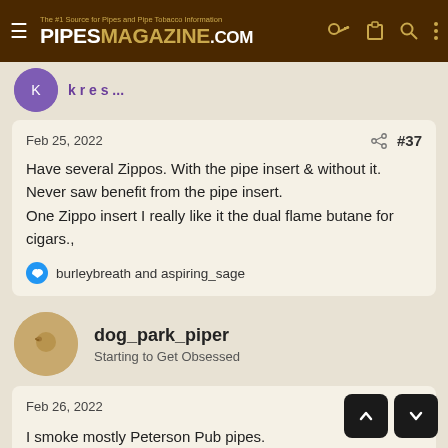PIPESMAGAZINE.COM — The #1 Source for Pipes and Pipe Tobacco Information
Feb 25, 2022  #37
Have several Zippos. With the pipe insert & without it. Never saw benefit from the pipe insert.
One Zippo insert I really like it the dual flame butane for cigars.,
👍 burleybreath and aspiring_sage
dog_park_piper
Starting to Get Obsessed
Feb 26, 2022  #38
I smoke mostly Peterson Pub pipes.
The bowl's height + the Peterson System aerating smoke = I can't draw the flame down when I use the